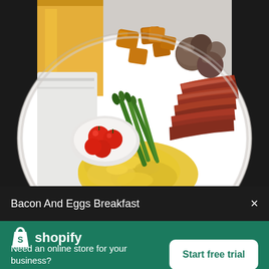[Figure (photo): Overhead view of a breakfast plate on a white dish containing scrambled eggs, bacon strips, asparagus spears, cherry tomatoes in a small bowl, and roasted potato cubes with mushrooms. A glass of orange juice is visible in the upper left corner. Dark background.]
Bacon And Eggs Breakfast
[Figure (logo): Shopify logo: white shopping bag icon with letter S, followed by white text 'shopify']
Need an online store for your business?
Start free trial